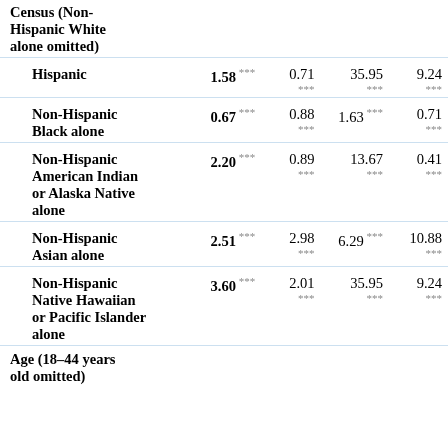|  | Col1 | Col2 | Col3 | Col4 |
| --- | --- | --- | --- | --- |
| Census (Non-Hispanic White alone omitted) |  |  |  |  |
| Hispanic | 1.58 *** | 0.71 *** | 35.95 *** | 9.24 *** |
| Non-Hispanic Black alone | 0.67 *** | 0.88 *** | 1.63 *** | 0.71 *** |
| Non-Hispanic American Indian or Alaska Native alone | 2.20 *** | 0.89 *** | 13.67 *** | 0.41 *** |
| Non-Hispanic Asian alone | 2.51 *** | 2.98 *** | 6.29 *** | 10.88 *** |
| Non-Hispanic Native Hawaiian or Pacific Islander alone | 3.60 *** | 2.01 *** | 35.95 *** | 9.24 *** |
| Age (18–44 years old omitted) |  |  |  |  |